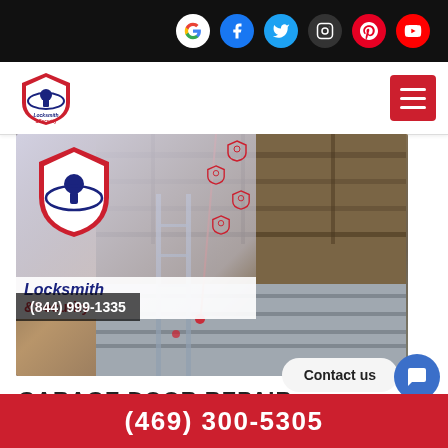Social media icons: Google, Facebook, Twitter, Instagram, Pinterest, YouTube
[Figure (logo): Locksmith & Security logo with shield and keyhole]
[Figure (photo): Person on ladder repairing garage door mechanism, with Locksmith & Security brand overlay showing logo and phone (844) 999-1335]
Contact us
GARAGE DOOR REPAIR
(469) 300-5305